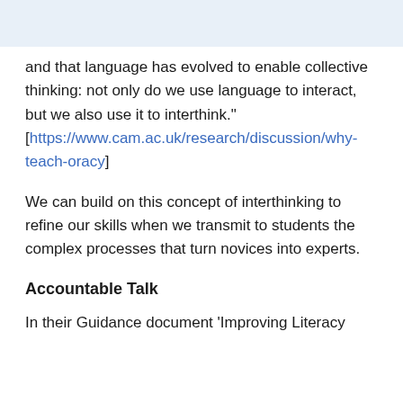and that language has evolved to enable collective thinking: not only do we use language to interact, but we also use it to interthink." [https://www.cam.ac.uk/research/discussion/why-teach-oracy]
We can build on this concept of interthinking to refine our skills when we transmit to students the complex processes that turn novices into experts.
Accountable Talk
In their Guidance document 'Improving Literacy